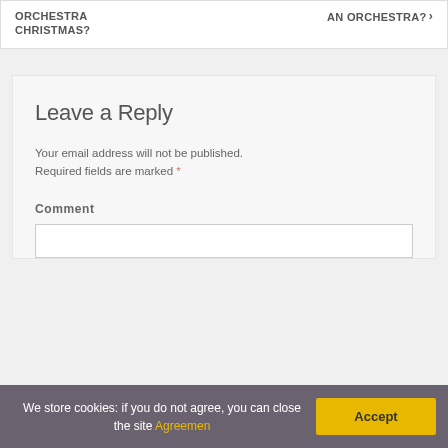ORCHESTRA CHRISTMAS?
AN ORCHESTRA? >
Leave a Reply
Your email address will not be published. Required fields are marked *
Comment
We store cookies: if you do not agree, you can close the site Agreemen